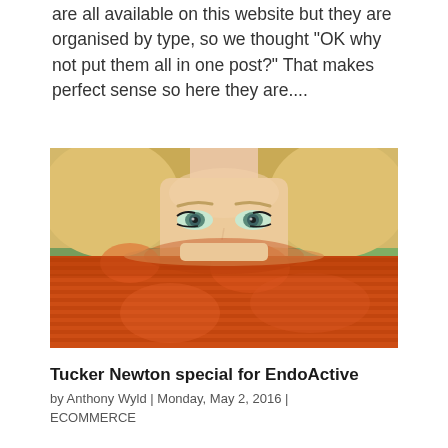are all available on this website but they are organised by type, so we thought "OK why not put them all in one post?" That makes perfect sense so here they are....
[Figure (photo): Close-up photo of a blonde woman with blue eyes peering over an orange knit sweater or scarf pulled up to cover the lower half of her face, outdoors with green foliage background]
Tucker Newton special for EndoActive
by Anthony Wyld | Monday, May 2, 2016 | ECOMMERCE